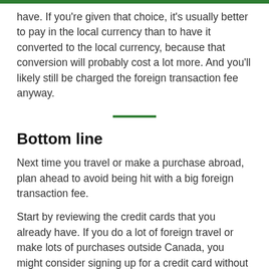have. If you're given that choice, it's usually better to pay in the local currency than to have it converted to the local currency, because that conversion will probably cost a lot more. And you'll likely still be charged the foreign transaction fee anyway.
Bottom line
Next time you travel or make a purchase abroad, plan ahead to avoid being hit with a big foreign transaction fee.
Start by reviewing the credit cards that you already have. If you do a lot of foreign travel or make lots of purchases outside Canada, you might consider signing up for a credit card without any foreign transaction fees — but make sure that the amount